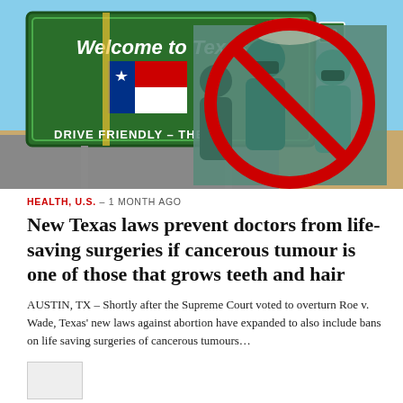[Figure (photo): Composite image: left side shows a green Texas highway welcome sign reading 'Welcome to Texas / DRIVE FRIENDLY - THE TE...' against a blue sky with palm trees; right side overlaid with a photo of surgeons in teal scrubs and masks in an operating room, with a large red prohibition circle (crossed-out circle) overlaid on top of the surgeons image.]
HEALTH, U.S.  –  1 MONTH AGO
New Texas laws prevent doctors from life-saving surgeries if cancerous tumour is one of those that grows teeth and hair
AUSTIN, TX – Shortly after the Supreme Court voted to overturn Roe v. Wade, Texas' new laws against abortion have expanded to also include bans on life saving surgeries of cancerous tumours…